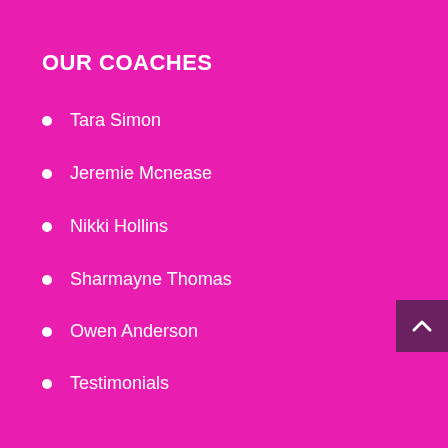OUR COACHES
Tara Simon
Jeremie Mcnease
Nikki Hollins
Sharmayne Thomas
Owen Anderson
Testimonials
SING
8 Week Course
INSTAREACTIONS
Riffs & Runs
Online Vocal Coaching